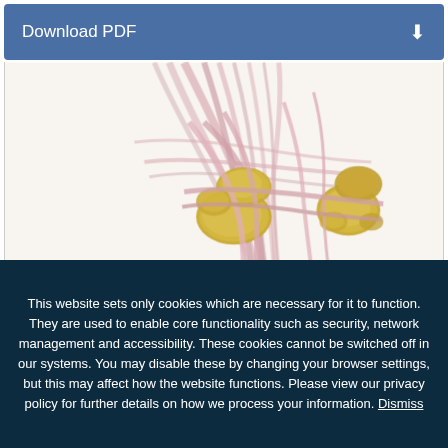[Figure (screenshot): Download PDF button bar with blue background and download icon on right]
[Figure (illustration): Anatomical illustration of foot/ankle bones (golden/yellow) with tendons and ligaments (pink) visible from a lateral view]
This website sets only cookies which are necessary for it to function. They are used to enable core functionality such as security, network management and accessibility. These cookies cannot be switched off in our systems. You may disable these by changing your browser settings, but this may affect how the website functions. Please view our privacy policy for further details on how we process your information. Dismiss